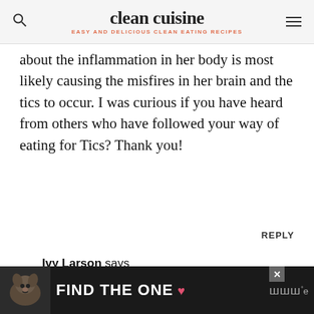clean cuisine — EASY AND DELICIOUS CLEAN EATING RECIPES
about the inflammation in her body is most likely causing the misfires in her brain and the tics to occur. I was curious if you have heard from others who have followed your way of eating for Tics? Thank you!
REPLY
Ivy Larson says
June 29, 2018 at 4:17 PM
Hi Melissa, Oh trust me, I totally understand how it can all be very overwhelming
[Figure (infographic): Advertisement banner at bottom of page showing a dog image with text FIND THE ONE and a heart symbol, plus a close button and logo]